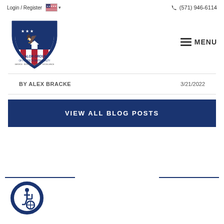Login / Register  (571) 946-6114
[Figure (logo): Valor Group of Pearson Smith Realty shield logo with eagle and American flag design]
≡ MENU
BY ALEX BRACKE   3/21/2022
VIEW ALL BLOG POSTS
[Figure (illustration): Accessibility icon - blue circle with wheelchair user symbol]